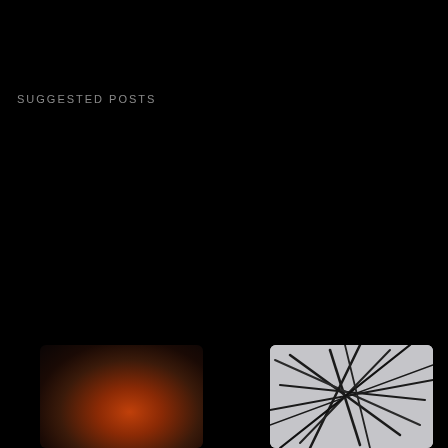SUGGESTED POSTS
[Figure (photo): Thumbnail image of dark smoke clouds with orange/red fire glow visible, dark background]
[Figure (photo): Thumbnail image of rope or wire crisscross pattern against a light grey sky background]